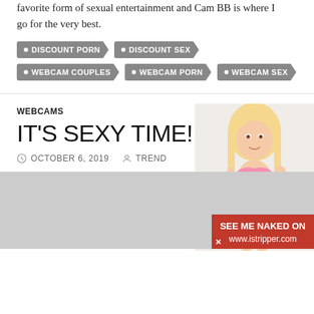favorite form of sexual entertainment and Cam BB is where I go for the very best.
DISCOUNT PORN
DISCOUNT SEX
WEBCAM COUPLES
WEBCAM PORN
WEBCAM SEX
WEBCAMS
IT'S SEXY TIME!
OCTOBER 6, 2019   TREND
[Figure (photo): Blonde woman in pink lingerie posing, with an istripper.com advertisement banner overlay at the bottom right reading SEE ME NAKED ON www.istripper.com]